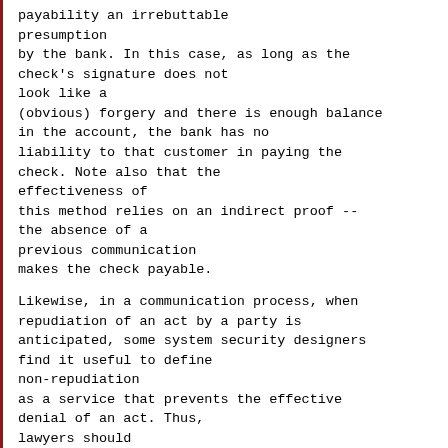payability an irrebuttable presumption by the bank. In this case, as long as the check's signature does not look like a (obvious) forgery and there is enough balance in the account, the bank has no liability to that customer in paying the check. Note also that the effectiveness of this method relies on an indirect proof -- the absence of a previous communication makes the check payable.
Likewise, in a communication process, when repudiation of an act by a party is anticipated, some system security designers find it useful to define non-repudiation as a service that prevents the effective denial of an act. Thus, lawyers should